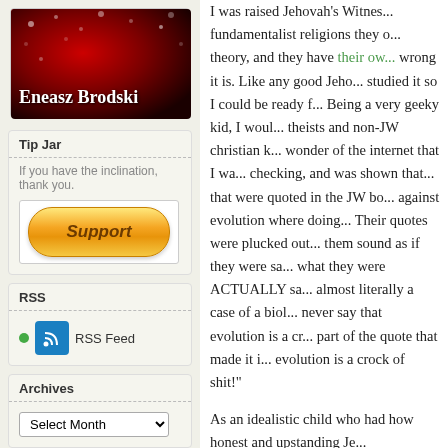[Figure (photo): Blog header image with red/dark background and white text reading 'Eneasz Brodski']
Tip Jar
If you have the inclination, thank you.
[Figure (other): PayPal Support button - orange rounded button with italic bold text 'Support']
RSS
RSS Feed
Archives
Select Month dropdown
I was raised Jehovah's Witnesses, one of the more fundamentalist religions they oppose evolution theory, and they have their ow... wrong it is. Like any good Jeho... studied it so I could be ready f... Being a very geeky kid, I woul... theists and non-JW christian k... wonder of the internet that I wa... checking, and was shown that... that were quoted in the JW bo... against evolution where doing... Their quotes were plucked out... them sound as if they were sa... what they were ACTUALLY sa... almost literally a case of a biol... never say that evolution is a cr... part of the quote that made it i... evolution is a crock of shit!"
As an idealistic child who had how honest and upstanding Je...